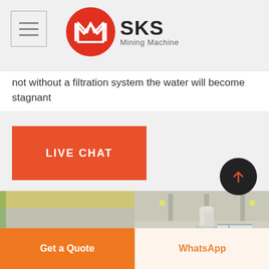SKS Mining Machine
not without a filtration system the water will become stagnant
LIVE CHAT
[Figure (photo): Two industrial mining machines photographed side by side in a factory/warehouse setting. Left image shows a large blue cylindrical rotary drum machine. Right image shows a large metallic conical/cylindrical machine in an industrial hall.]
Get a Quote
WhatsApp